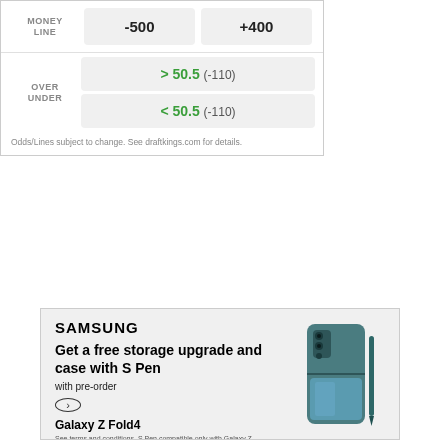|  | Team 1 | Team 2 |
| --- | --- | --- |
| MONEY LINE | -500 | +400 |
| OVER UNDER | > 50.5 (-110) | < 50.5 (-110) |
Odds/Lines subject to change. See draftkings.com for details.
[Figure (infographic): Samsung advertisement for Galaxy Z Fold4. Text: SAMSUNG. Get a free storage upgrade and case with S Pen with pre-order. Arrow button. Galaxy Z Fold4. See terms and conditions. S Pen compatible only with Galaxy Z Fold4 main display. Image shows a teal Samsung Galaxy Z Fold4 phone with S Pen.]